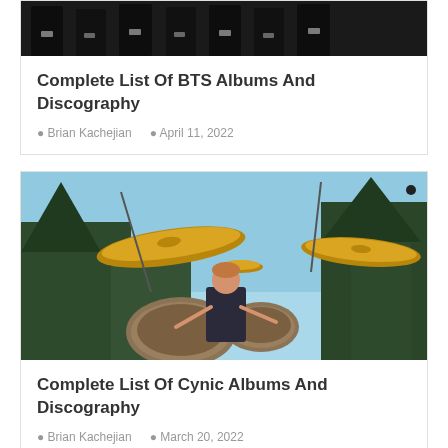[Figure (photo): Group of people dressed in formal dark suits, partial view (cropped at top)]
Complete List Of BTS Albums And Discography
Brian Kachejian  April 11, 2022
[Figure (photo): A drummer performing on stage outdoors with large cymbals visible, trees in background]
Complete List Of Cynic Albums And Discography
Brian Kachejian  March 20, 2022